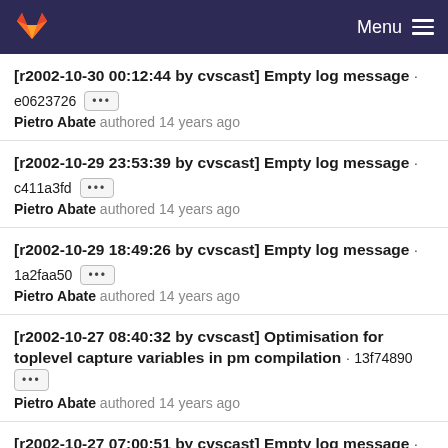Menu
[r2002-10-30 00:12:44 by cvscast] Empty log message · e0623726 ··· Pietro Abate authored 14 years ago
[r2002-10-29 23:53:39 by cvscast] Empty log message · c411a3fd ··· Pietro Abate authored 14 years ago
[r2002-10-29 18:49:26 by cvscast] Empty log message · 1a2faa50 ··· Pietro Abate authored 14 years ago
[r2002-10-27 08:40:32 by cvscast] Optimisation for toplevel capture variables in pm compilation · 13f74890 ··· Pietro Abate authored 14 years ago
[r2002-10-27 07:00:51 by cvscast] Empty log message · 12866377 ··· Pietro Abate authored 14 years ago